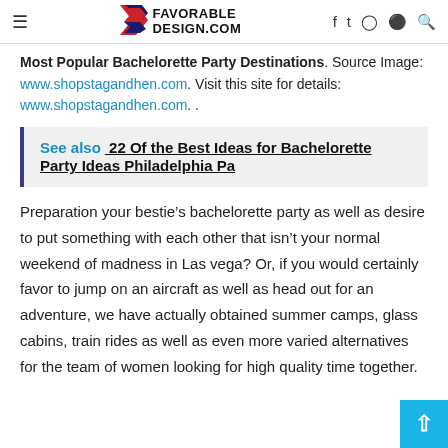FAVORABLE DESIGN.COM
Most Popular Bachelorette Party Destinations. Source Image: www.shopstagandhen.com. Visit this site for details: www.shopstagandhen.com. .
See also  22 Of the Best Ideas for Bachelorette Party Ideas Philadelphia Pa
Preparation your bestie’s bachelorette party as well as desire to put something with each other that isn’t your normal weekend of madness in Las vega? Or, if you would certainly favor to jump on an aircraft as well as head out for an adventure, we have actually obtained summer camps, glass cabins, train rides as well as even more varied alternatives for the team of women looking for high quality time together.